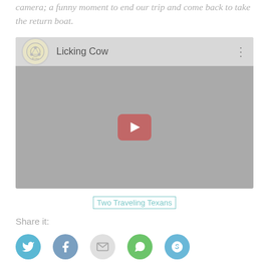camera; a funny moment to end our trip and come back to take the return boat.
[Figure (screenshot): YouTube-style embedded video player showing 'Licking Cow' with a channel icon, video title, three-dot menu, and a play button over a dark thumbnail.]
[Figure (logo): Two Traveling Texans logo/link shown as image placeholder text]
Share it:
[Figure (other): Social share icons: Twitter (blue), Facebook (blue), Email (grey), WhatsApp (green), Skype (blue)]